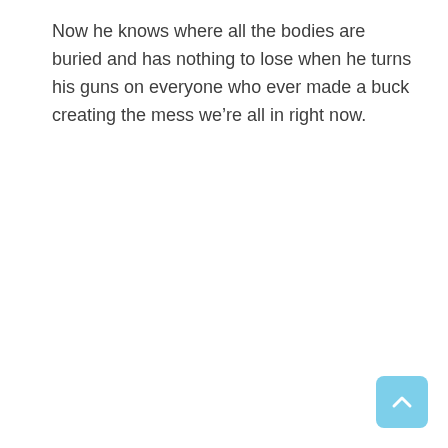Now he knows where all the bodies are buried and has nothing to lose when he turns his guns on everyone who ever made a buck creating the mess we’re all in right now.
[Figure (other): A light blue rounded square button with a white upward-pointing chevron arrow, positioned at the bottom-right corner of the page.]